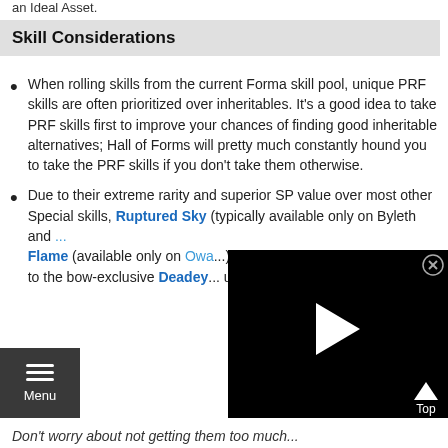an Ideal Asset.
Skill Considerations
When rolling skills from the current Forma skill pool, unique PRF skills are often prioritized over inheritables. It's a good idea to take PRF skills first to improve your chances of finding good inheritable alternatives; Hall of Forms will pretty much constantly hound you to take the PRF skills if you don't take them otherwise.
Due to their extreme rarity and superior SP value over most other Special skills, Ruptured Sky (typically available only on Byleth and ...) Flame (available only on Owa...) as a final Special choice. For b... to the bow-exclusive Deadey... units, this extends to the dag...
Don't worry about not getting them too much...
[Figure (screenshot): Video player overlay with play button, close (X) button, and Top arrow button on dark background]